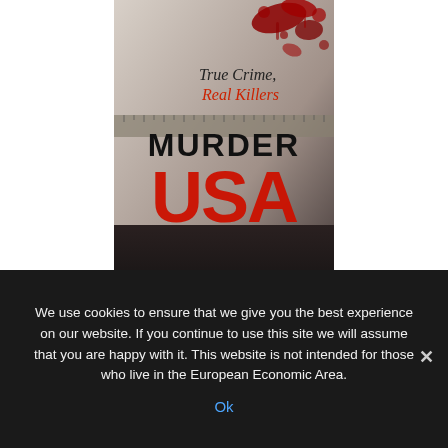[Figure (illustration): Book cover for 'Murder USA' by Ken Rossignol. Dark background with blood splatter imagery. Text reads 'True Crime, Real Killers' at top, 'MURDER' in black letters, 'USA' in large red distressed letters, author name 'KEN ROSSIGNOL' in white at bottom.]
We use cookies to ensure that we give you the best experience on our website. If you continue to use this site we will assume that you are happy with it. This website is not intended for those who live in the European Economic Area.
Ok